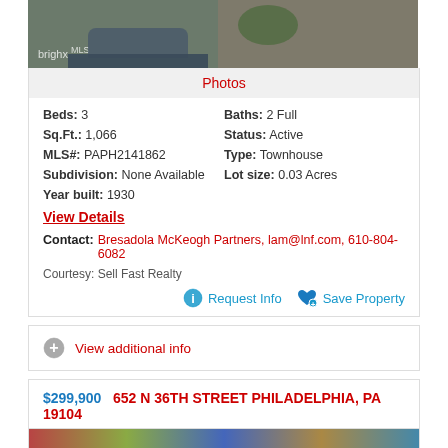[Figure (photo): Top portion of property photo showing car and brick building exterior with 'brighx' watermark]
Photos
Beds: 3
Sq.Ft.: 1,066
MLS#: PAPH2141862
Subdivision: None Available
Year built: 1930
Baths: 2 Full
Status: Active
Type: Townhouse
Lot size: 0.03 Acres
View Details
Contact: Bresadola McKeogh Partners, lam@lnf.com, 610-804-6082
Courtesy: Sell Fast Realty
Request Info   Save Property
View additional info
$299,900   652 N 36TH STREET PHILADELPHIA, PA 19104
[Figure (photo): Bottom partial property photo strip]